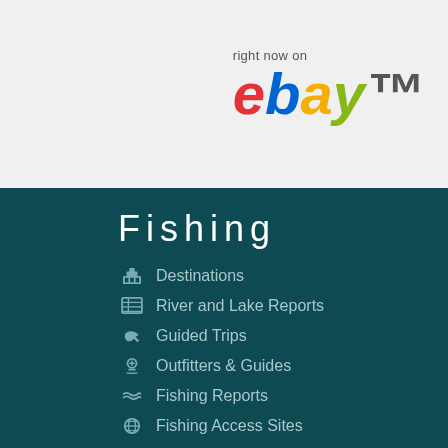[Figure (logo): eBay logo with 'right now on' text above it, displayed in top-right of a light gray banner area]
Fishing
Destinations
River and Lake Reports
Guided Trips
Outfitters & Guides
Fishing Reports
Fishing Access Sites
Fish Species